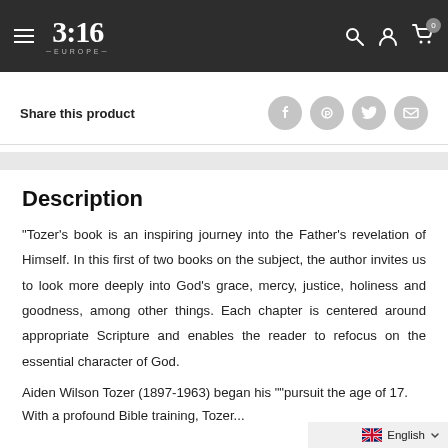3:16 EUROPE — navigation header with hamburger menu, logo, search, account, and cart icons
Share this product
Description
"Tozer's book is an inspiring journey into the Father's revelation of Himself. In this first of two books on the subject, the author invites us to look more deeply into God's grace, mercy, justice, holiness and goodness, among other things. Each chapter is centered around appropriate Scripture and enables the reader to refocus on the essential character of God.
Aiden Wilson Tozer (1897-1963) began his ""pursuit the age of 17. With a profound Bible training, Tozer...